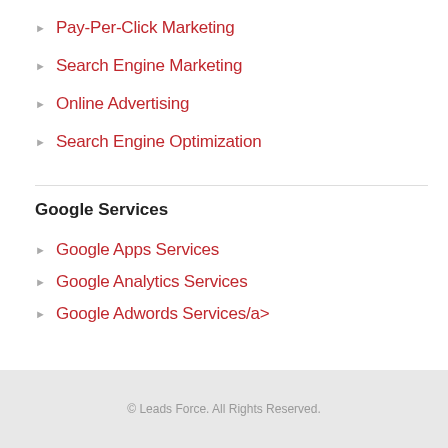Pay-Per-Click Marketing
Search Engine Marketing
Online Advertising
Search Engine Optimization
Google Services
Google Apps Services
Google Analytics Services
Google Adwords Services/a>
© Leads Force. All Rights Reserved.